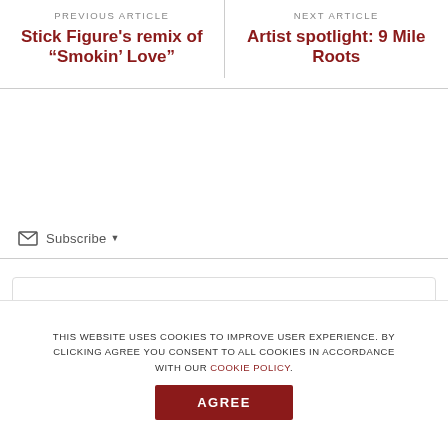PREVIOUS ARTICLE
Stick Figure's remix of “Smokin’ Love”
NEXT ARTICLE
Artist spotlight: 9 Mile Roots
Subscribe
Be the First to Comment!
THIS WEBSITE USES COOKIES TO IMPROVE USER EXPERIENCE. BY CLICKING AGREE YOU CONSENT TO ALL COOKIES IN ACCORDANCE WITH OUR COOKIE POLICY.
AGREE